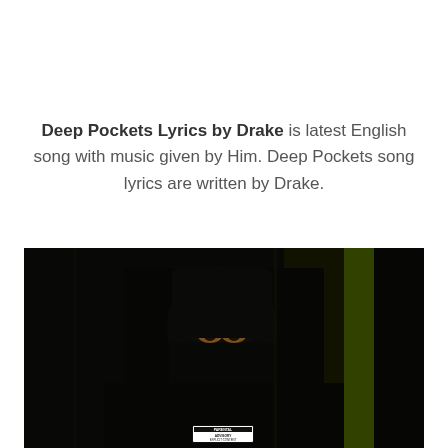Deep Pockets Lyrics by Drake is latest English song with music given by Him. Deep Pockets song lyrics are written by Drake.
[Figure (photo): Album cover art showing a figure wearing all black including a face covering, with eyes visible, against a very dark background with a faint green/yellow vertical stripe on the right side. An 'EXPLICIT CONTENT' parental advisory label is visible at the bottom center.]